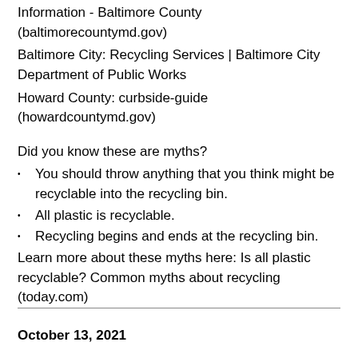Information - Baltimore County (baltimorecountymd.gov)
Baltimore City: Recycling Services | Baltimore City Department of Public Works
Howard County: curbside-guide (howardcountymd.gov)
Did you know these are myths?
You should throw anything that you think might be recyclable into the recycling bin.
All plastic is recyclable.
Recycling begins and ends at the recycling bin.
Learn more about these myths here: Is all plastic recyclable? Common myths about recycling (today.com)
October 13, 2021